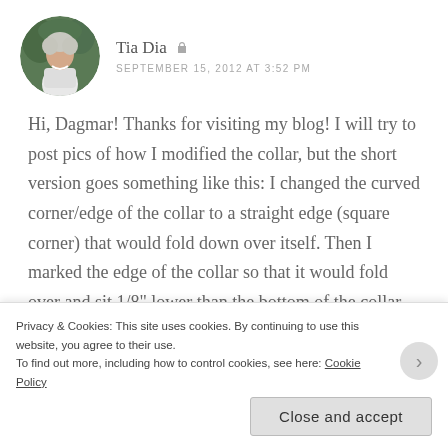[Figure (photo): Circular avatar photo of Tia Dia, a woman with short gray/white hair wearing a white top, standing outdoors with green foliage in background]
Tia Dia
SEPTEMBER 15, 2012 AT 3:52 PM
Hi, Dagmar! Thanks for visiting my blog! I will try to post pics of how I modified the collar, but the short version goes something like this: I changed the curved corner/edge of the collar to a straight edge (square corner) that would fold down over itself. Then I marked the edge of the collar so that it would fold over and sit 1/8" lower than the bottom of the collar stand in the back, and to meet exactly the roll line at the very top of the
Privacy & Cookies: This site uses cookies. By continuing to use this website, you agree to their use.
To find out more, including how to control cookies, see here: Cookie Policy
Close and accept